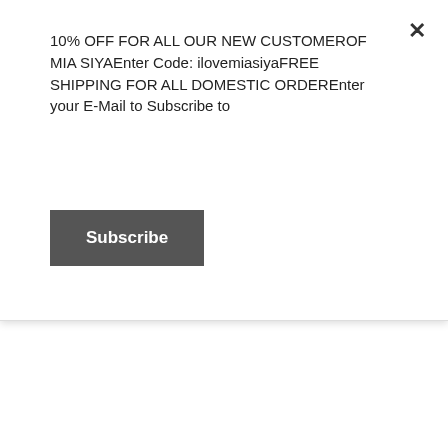10% OFF FOR ALL OUR NEW CUSTOMEROF MIA SIYAEnter Code: ilovemiasiyaFREE SHIPPING FOR ALL DOMESTIC ORDEREnter your E-Mail to Subscribe to
Subscribe
For centuries, sterling silver has been a luxurious metal/material for crafting jewelry and other items because of its highly lustrous finish and versatile applications. Sterling Silver, as we know is an alloy of silver containing 92.5% by mass of silver and 7.5% by mass of other metal, usually copper. The small amount of copper added to sterling has very little effect on the metal's value. In fact, the cost of a silver item is mainly affected by the labor that is involved in making the item, the skill of the